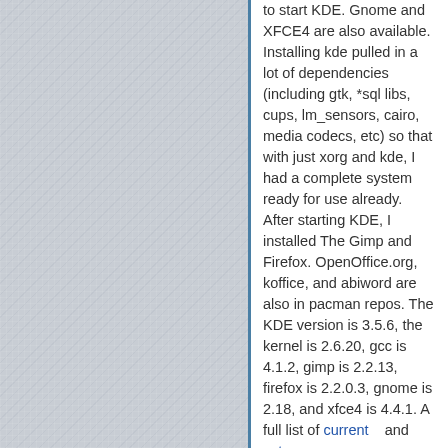to start KDE. Gnome and XFCE4 are also available. Installing kde pulled in a lot of dependencies (including gtk, *sql libs, cups, lm_sensors, cairo, media codecs, etc) so that with just xorg and kde, I had a complete system ready for use already. After starting KDE, I installed The Gimp and Firefox. OpenOffice.org, koffice, and abiword are also in pacman repos. The KDE version is 3.5.6, the kernel is 2.6.20, gcc is 4.1.2, gimp is 2.2.13, firefox is 2.2.0.3, gnome is 2.18, and xfce4 is 4.4.1. A full list of current and extra ,